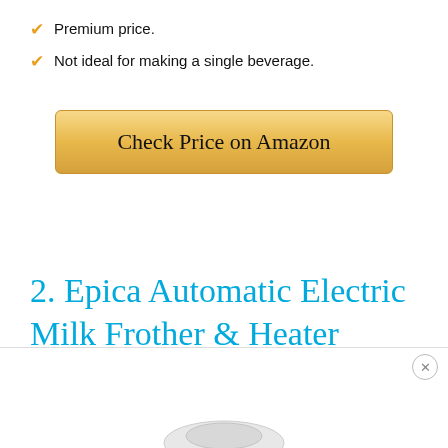Premium price.
Not ideal for making a single beverage.
[Figure (other): Gold gradient button labeled 'Check Price on Amazon']
2. Epica Automatic Electric Milk Frother & Heater Carafe
[Figure (other): Partial product image at bottom of page with a close button (X) in the top-right corner of the footer area]